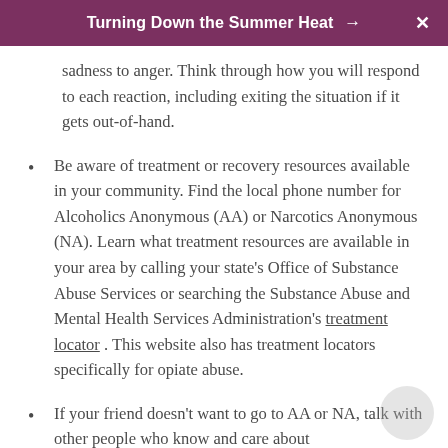Turning Down the Summer Heat →  X
sadness to anger. Think through how you will respond to each reaction, including exiting the situation if it gets out-of-hand.
Be aware of treatment or recovery resources available in your community. Find the local phone number for Alcoholics Anonymous (AA) or Narcotics Anonymous (NA). Learn what treatment resources are available in your area by calling your state's Office of Substance Abuse Services or searching the Substance Abuse and Mental Health Services Administration's treatment locator . This website also has treatment locators specifically for opiate abuse.
If your friend doesn't want to go to AA or NA, talk with other people who know and care about